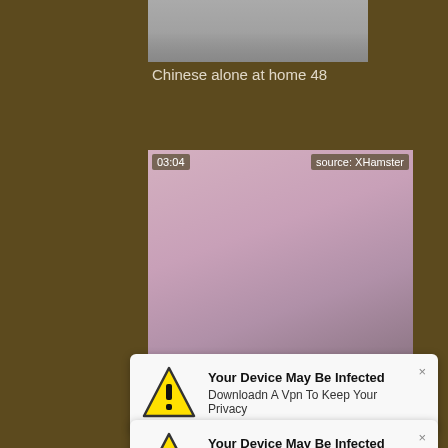[Figure (screenshot): Screenshot of a video website showing a video thumbnail with overlay text '03:04' and 'source: XHamster', along with a text label 'Chinese alone at home 48', and two popup warnings saying 'Your Device May Be Infected - Downloadn A Vpn To Keep Your Privacy']
Chinese alone at home 48